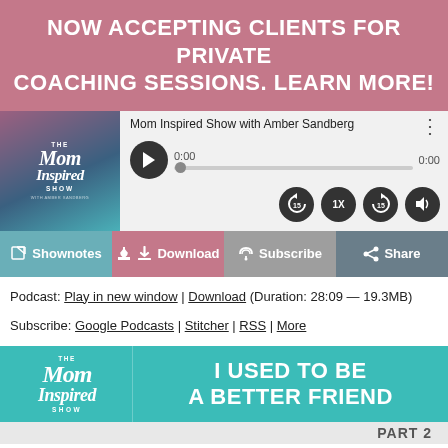NOW ACCEPTING CLIENTS FOR PRIVATE COACHING SESSIONS. LEARN MORE!
[Figure (screenshot): Podcast player widget for 'Mom Inspired Show with Amber Sandberg' showing play button, progress bar at 0:00, skip 15s back, 1x speed, skip 15s forward, and volume controls]
[Figure (screenshot): Podcast toolbar with Shownotes, Download, Subscribe, Share buttons]
Podcast: Play in new window | Download (Duration: 28:09 — 19.3MB)
Subscribe: Google Podcasts | Stitcher | RSS | More
[Figure (illustration): Mom Inspired Show banner with teal background, logo on left and 'I USED TO BE A BETTER FRIEND' text on right]
PART 2